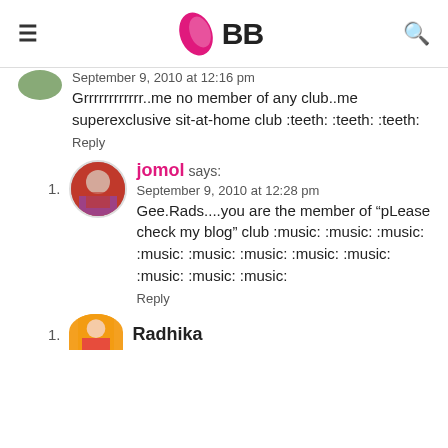IMBB (logo)
September 9, 2010 at 12:16 pm
Grrrrrrrrrrrr..me no member of any club..me superexclusive sit-at-home club :teeth: :teeth: :teeth:
Reply
1. jomol says:
September 9, 2010 at 12:28 pm
Gee.Rads....you are the member of “pLease check my blog” club :music: :music: :music: :music: :music: :music: :music: :music: :music: :music: :music:
Reply
1. Radhika